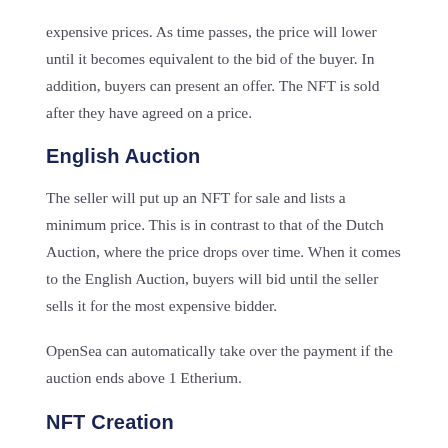expensive prices. As time passes, the price will lower until it becomes equivalent to the bid of the buyer. In addition, buyers can present an offer. The NFT is sold after they have agreed on a price.
English Auction
The seller will put up an NFT for sale and lists a minimum price. This is in contrast to that of the Dutch Auction, where the price drops over time. When it comes to the English Auction, buyers will bid until the seller sells it for the most expensive bidder.
OpenSea can automatically take over the payment if the auction ends above 1 Etherium.
NFT Creation